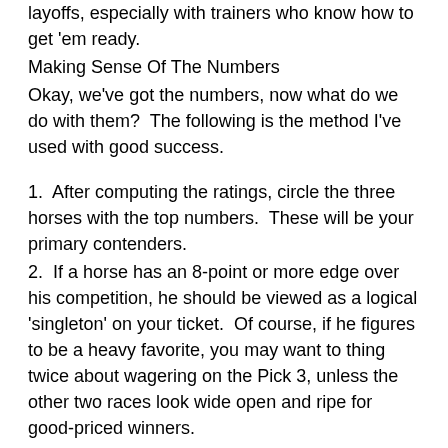layoffs, especially with trainers who know how to get 'em ready.
Making Sense Of The Numbers
Okay, we've got the numbers, now what do we do with them?  The following is the method I've used with good success.
1.  After computing the ratings, circle the three horses with the top numbers.  These will be your primary contenders.
2.  If a horse has an 8-point or more edge over his competition, he should be viewed as a logical 'singleton' on your ticket.  Of course, if he figures to be a heavy favorite, you may want to thing twice about wagering on the Pick 3, unless the other two races look wide open and ripe for good-priced winners.
3.  If two horses are well above the other competitors on numbers (5 points or more), it is a good idea to use both of those runners.
4.  If the numbers are very close among the top three runners